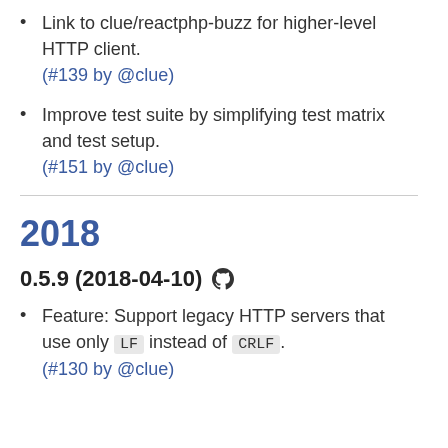Link to clue/reactphp-buzz for higher-level HTTP client.
(#139 by @clue)
Improve test suite by simplifying test matrix and test setup.
(#151 by @clue)
2018
0.5.9 (2018-04-10)
Feature: Support legacy HTTP servers that use only LF instead of CRLF.
(#130 by @clue)